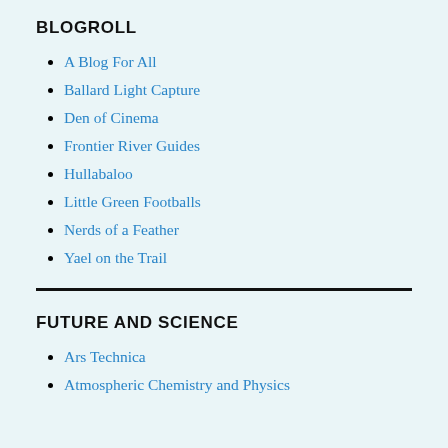BLOGROLL
A Blog For All
Ballard Light Capture
Den of Cinema
Frontier River Guides
Hullabaloo
Little Green Footballs
Nerds of a Feather
Yael on the Trail
FUTURE AND SCIENCE
Ars Technica
Atmospheric Chemistry and Physics